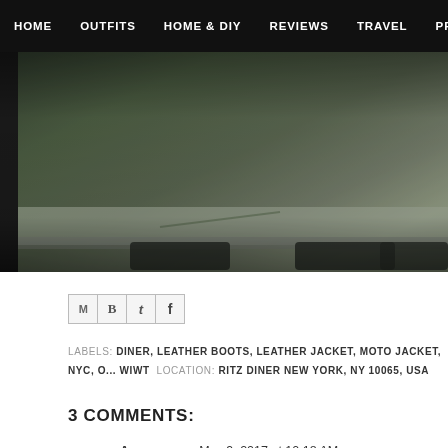HOME  OUTFITS  HOME & DIY  REVIEWS  TRAVEL  PROJE
[Figure (photo): Blurry photograph of a diner window/exterior, dark tones, cropped view showing what appears to be the inside of a diner with reflections on glass.]
[Figure (other): Social share icons: Email (M), Blogger (B), Twitter (t), Facebook (f)]
LABELS: DINER, LEATHER BOOTS, LEATHER JACKET, MOTO JACKET, NYC, ... WIWT  LOCATION: RITZ DINER NEW YORK, NY 10065, USA
3 COMMENTS:
Anonymous  May 9, 2017 at 10:18 AM